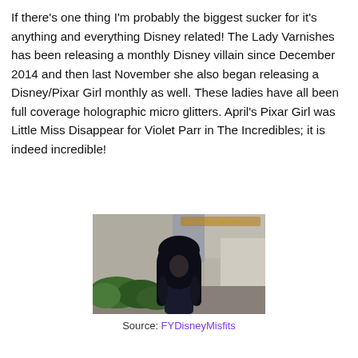If there's one thing I'm probably the biggest sucker for it's anything and everything Disney related! The Lady Varnishes has been releasing a monthly Disney villain since December 2014 and then last November she also began releasing a Disney/Pixar Girl monthly as well. These ladies have all been full coverage holographic micro glitters. April's Pixar Girl was Little Miss Disappear for Violet Parr in The Incredibles; it is indeed incredible!
[Figure (photo): Screenshot from The Incredibles animated film showing Violet Parr, a girl with long black hair covering her face, crouching near green bushes and a stone wall.]
Source: FYDisneyMisfits